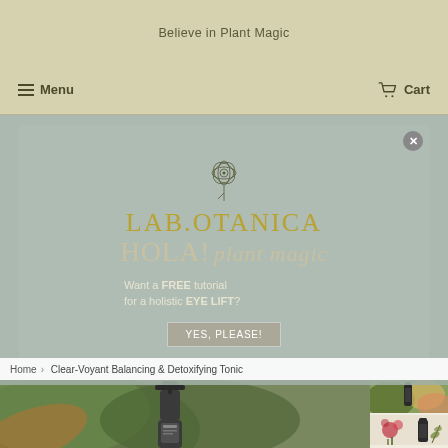Believe in Plant Magic
Menu   Cart
[Figure (screenshot): Lab.Botanica popup modal with flower logo, brand name LAB.OTANICA, HOLA! plant magic text, and FREE tutorial for holistic EYE LIFT offer with YES, PLEASE! button]
Home › Clear-Voyant Balancing & Detoxifying Tonic
[Figure (photo): Product photo of dark glass spray bottle with tropical green leaves in background]
[Figure (photo): Thumbnail photo of spray bottle with pink flowers]
[Figure (photo): Thumbnail photo of product with botanical illustration]